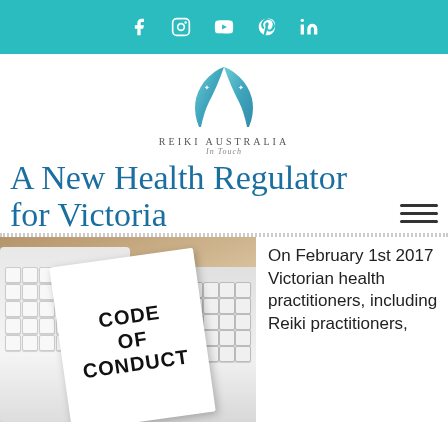Social media icons: Facebook, Instagram, YouTube, Pinterest, LinkedIn
[Figure (logo): Reiki Australia logo with two blue hands forming a triangle shape, text 'REIKI AUSTRALIA In Touch']
A New Health Regulator for Victoria
[Figure (photo): Photo of a document titled 'CODE OF CONDUCT' resting on a computer keyboard on a wooden desk]
On February 1st 2017 Victorian health practitioners, including Reiki practitioners,